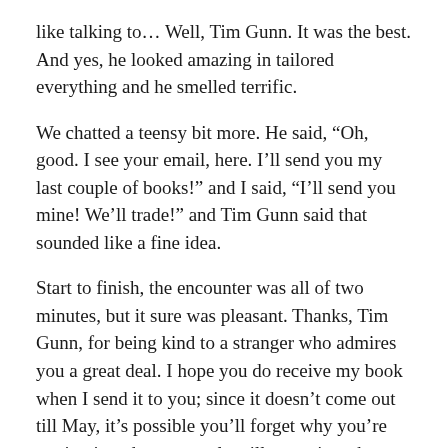like talking to… Well, Tim Gunn. It was the best. And yes, he looked amazing in tailored everything and he smelled terrific.
We chatted a teensy bit more. He said, “Oh, good. I see your email, here. I’ll send you my last couple of books!” and I said, “I’ll send you mine! We’ll trade!” and Tim Gunn said that sounded like a fine idea.
Start to finish, the encounter was all of two minutes, but it sure was pleasant. Thanks, Tim Gunn, for being kind to a stranger who admires you a great deal. I hope you do receive my book when I send it to you; since it doesn’t come out till May, it’s possible you’ll forget why you’re getting it and your people will move it to the revolving file. But if you do get it, I hope the quilts in the book will inspire you, even a tiny bit.